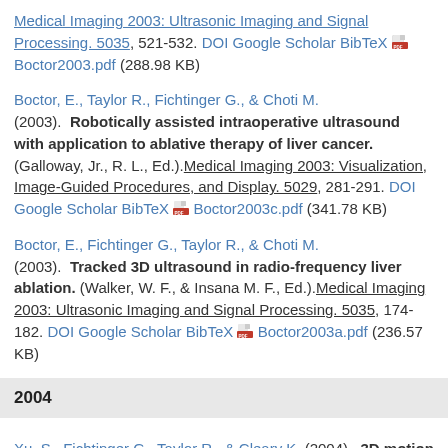Medical Imaging 2003: Ultrasonic Imaging and Signal Processing. 5035, 521-532. DOI Google Scholar BibTeX Boctor2003.pdf (288.98 KB)
Boctor, E., Taylor R., Fichtinger G., & Choti M. (2003). Robotically assisted intraoperative ultrasound with application to ablative therapy of liver cancer. (Galloway, Jr., R. L., Ed.). Medical Imaging 2003: Visualization, Image-Guided Procedures, and Display. 5029, 281-291. DOI Google Scholar BibTeX Boctor2003c.pdf (341.78 KB)
Boctor, E., Fichtinger G., Taylor R., & Choti M. (2003). Tracked 3D ultrasound in radio-frequency liver ablation. (Walker, W. F., & Insana M. F., Ed.). Medical Imaging 2003: Ultrasonic Imaging and Signal Processing. 5035, 174-182. DOI Google Scholar BibTeX Boctor2003a.pdf (236.57 KB)
2004
Xu, S., Fichtinger G., Taylor R., & Cleary K. (2004). 3D motion tracking of pulmonary lesions using CT fluoroscopy images